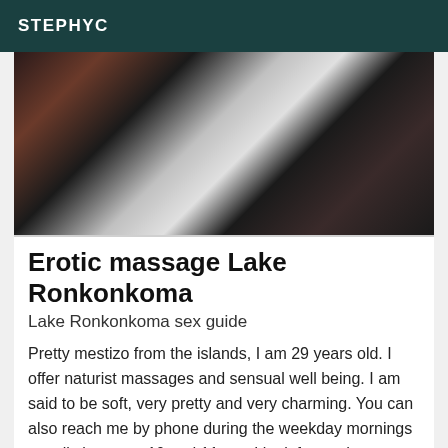STEPHYC
[Figure (photo): Photo of a person lying down wearing a pink and black bikini top, dark background with white light element visible]
Erotic massage Lake Ronkonkoma
Lake Ronkonkoma sex guide
Pretty mestizo from the islands, I am 29 years old. I offer naturist massages and sensual well being. I am said to be soft, very pretty and very charming. You can also reach me by phone during the weekday mornings usually between 10 and 11 am; I look forward to hearing from you, Lina